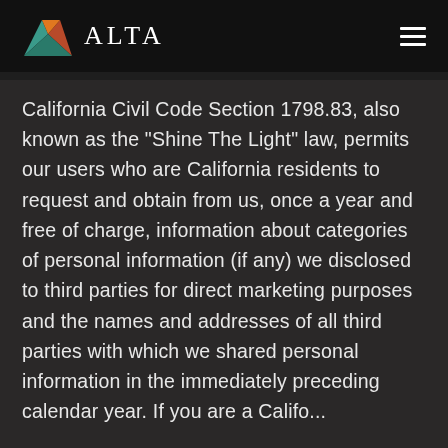ALTA
California Civil Code Section 1798.83, also known as the “Shine The Light” law, permits our users who are California residents to request and obtain from us, once a year and free of charge, information about categories of personal information (if any) we disclosed to third parties for direct marketing purposes and the names and addresses of all third parties with which we shared personal information in the immediately preceding calendar year. If you are a California resident, you should like to...